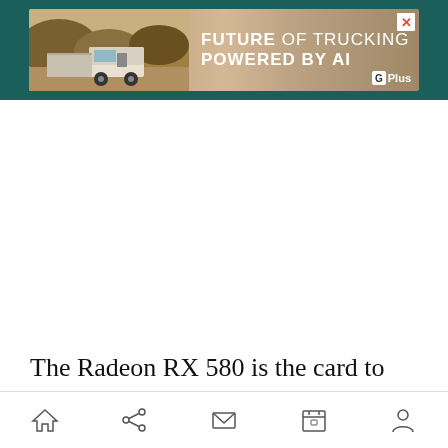[Figure (screenshot): Advertisement banner for 'Future of Trucking Powered by AI' with a truck image on a teal background, with a G+ Plus logo and a close button.]
The Radeon RX 580 is the card to get if you are using a 1080p 60 Hz monitor. Anything else is usually overkill. You could go with the recently
Home | Share | Mail | Calendar | User — navigation bar icons